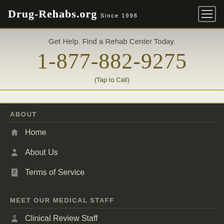Drug-Rehabs.org Since 1998
Get Help. Find a Rehab Center Today.
1-877-882-9275
(Tap to Call)
ABOUT
Home
About Us
Terms of Service
MEET OUR MEDICAL STAFF
Clinical Review Staff
JOIN US